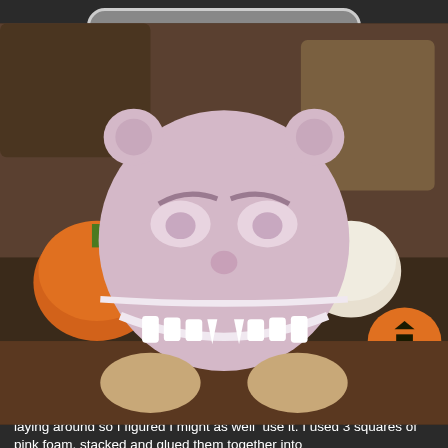[Figure (photo): A handmade scary vampire teddy head made from pink foam, shaped like a round ball with mouse-like ears, painted facial features including angry eyes and a wide grinning mouth with white teeth, surrounded by Halloween pumpkins and decorations in the background.]
Scary Vampire Teddy Head Construction Tutorial
(Detailed description corresponds with picture tutorial above)
1a. Use reference photos to get accurate details, scale, and measurements.
1b. Make or Buy a round foam head.
(I could have bought a foam ball, but I had tons of pink foam just laying around so I figured I might as well  use it. I used 3 squares of pink foam, stacked and glued them together into